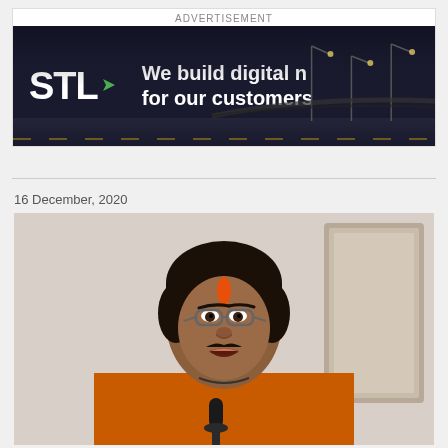ADVERTISEMENT
[Figure (photo): STL advertisement banner with dark background showing 'STL' logo with green arrow and text 'We build digital n... for our customers']
16 December, 2020
[Figure (photo): Photo of a man wearing orange traditional Indian attire with glasses and orange tilak on forehead, speaking at a microphone]